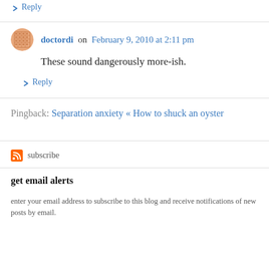↳ Reply
doctordi on February 9, 2010 at 2:11 pm
These sound dangerously more-ish.
↳ Reply
Pingback: Separation anxiety « How to shuck an oyster
subscribe
get email alerts
enter your email address to subscribe to this blog and receive notifications of new posts by email.